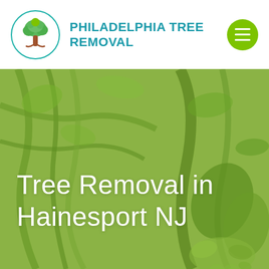[Figure (logo): Philadelphia Tree Removal logo: a tree inside a teal circle, with bold teal text 'PHILADELPHIA TREE REMOVAL' and a green hamburger menu button on the right]
[Figure (photo): Green-tinted background photo of tree branches, leaves, and a hand holding a branch. Large white text overlay reads 'Tree Removal in Hainesport NJ']
Tree Removal in Hainesport NJ